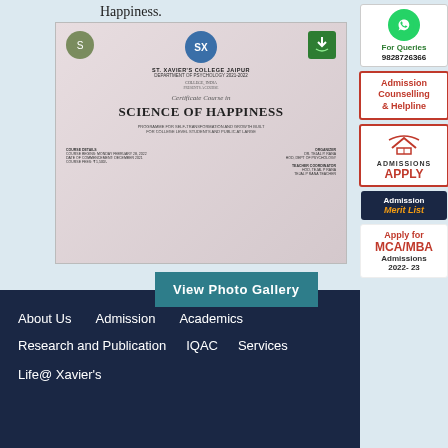Happiness.
[Figure (photo): Certificate Course in Science of Happiness issued by St. Xavier's College Jaipur, Department of Psychology 2021-2022]
View Photo Gallery
About Us
Admission
Academics
Research and Publication
IQAC
Services
Life@ Xavier's
[Figure (infographic): WhatsApp For Queries 9828726366]
[Figure (infographic): Admission Counselling & Helpline]
[Figure (infographic): Admissions APPLY]
[Figure (infographic): Admission Merit List]
[Figure (infographic): Apply for MCA/MBA Admissions 2022-23]